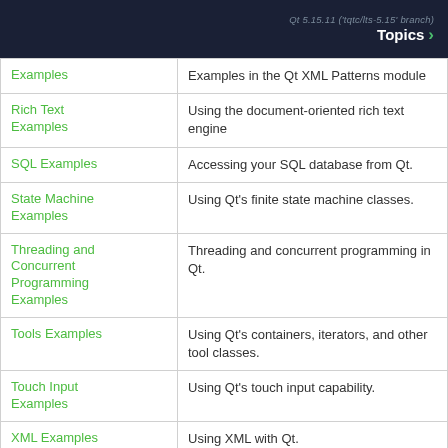Qt 5.15.11 ('tqtc/lts-5.15' branch) Topics
| Link | Description |
| --- | --- |
| Examples | Examples in the Qt XML Patterns module |
| Rich Text Examples | Using the document-oriented rich text engine |
| SQL Examples | Accessing your SQL database from Qt. |
| State Machine Examples | Using Qt's finite state machine classes. |
| Threading and Concurrent Programming Examples | Threading and concurrent programming in Qt. |
| Tools Examples | Using Qt's containers, iterators, and other tool classes. |
| Touch Input Examples | Using Qt's touch input capability. |
| XML Examples | Using XML with Qt. |
© 2022 The Qt Company Ltd. Documentation contributions included herein are the copyrights of their respective owners. The documentation provided herein